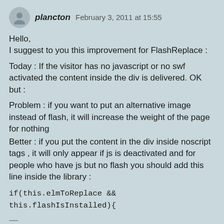plancton  February 3, 2011 at 15:55
Hello,
I suggest to you this improvement for FlashReplace :
Today : If the visitor has no javascript or no swf activated the content inside the div is delivered. OK but :
Problem : if you want to put an alternative image instead of flash, it will increase the weight of the page for nothing
Better : if you put the content in the div inside noscript tags , it will only appear if js is deactivated and for people who have js but no flash you should add this line inside the library :
if(this.elmToReplace &&
this.flashIsInstalled){
……